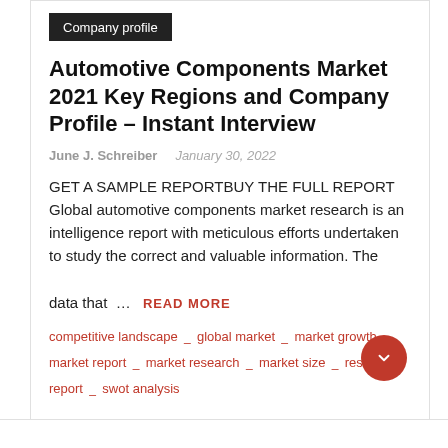Company profile
Automotive Components Market 2021 Key Regions and Company Profile – Instant Interview
June J. Schreiber   January 30, 2022
GET A SAMPLE REPORTBUY THE FULL REPORT Global automotive components market research is an intelligence report with meticulous efforts undertaken to study the correct and valuable information. The data that … READ MORE
competitive landscape  _  global market  _  market growth  _  market report  _  market research  _  market size  _  research report  _  swot analysis